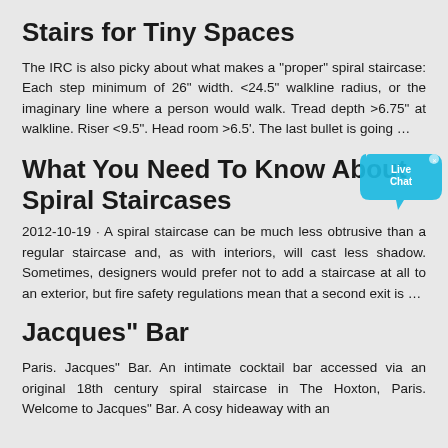Stairs for Tiny Spaces
The IRC is also picky about what makes a "proper" spiral staircase: Each step minimum of 26" width. <24.5" walkline radius, or the imaginary line where a person would walk. Tread depth >6.75" at walkline. Riser <9.5". Head room >6.5'. The last bullet is going …
What You Need To Know About Spiral Staircases
2012-10-19 · A spiral staircase can be much less obtrusive than a regular staircase and, as with interiors, will cast less shadow. Sometimes, designers would prefer not to add a staircase at all to an exterior, but fire safety regulations mean that a second exit is …
Jacques" Bar
Paris. Jacques" Bar. An intimate cocktail bar accessed via an original 18th century spiral staircase in The Hoxton, Paris. Welcome to Jacques" Bar. A cosy hideaway with an